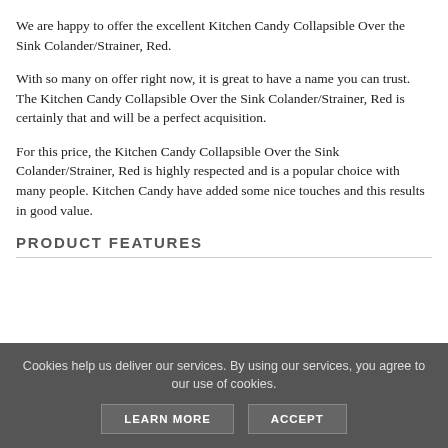We are happy to offer the excellent Kitchen Candy Collapsible Over the Sink Colander/Strainer, Red.
With so many on offer right now, it is great to have a name you can trust. The Kitchen Candy Collapsible Over the Sink Colander/Strainer, Red is certainly that and will be a perfect acquisition.
For this price, the Kitchen Candy Collapsible Over the Sink Colander/Strainer, Red is highly respected and is a popular choice with many people. Kitchen Candy have added some nice touches and this results in good value.
PRODUCT FEATURES
Cookies help us deliver our services. By using our services, you agree to our use of cookies.